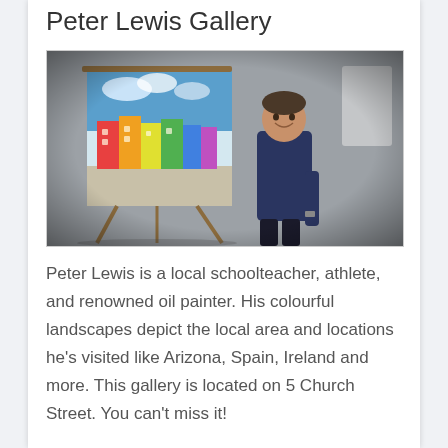Peter Lewis Gallery
[Figure (photo): A man smiling and standing next to an easel with a colorful oil painting of a street scene with colourful buildings. He is wearing a dark navy top and holding painting tools. The background appears to be an outdoor or industrial setting.]
Peter Lewis is a local schoolteacher, athlete, and renowned oil painter. His colourful landscapes depict the local area and locations he’s visited like Arizona, Spain, Ireland and more. This gallery is located on 5 Church Street. You can’t miss it!